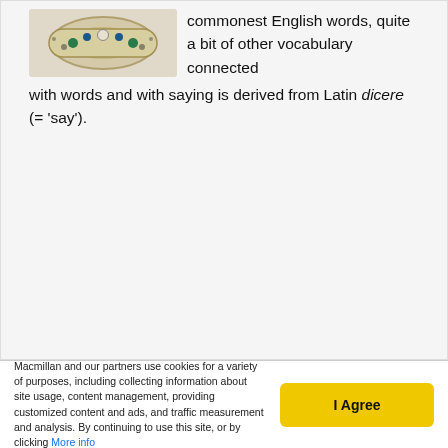[Figure (photo): A decorative ring with gemstones on a light background, partially cropped at top]
commonest English words, quite a bit of other vocabulary connected with words and with saying is derived from Latin dicere (= 'say').
Macmillan and our partners use cookies for a variety of purposes, including collecting information about site usage, content management, providing customized content and ads, and traffic measurement and analysis. By continuing to use this site, or by clicking More info